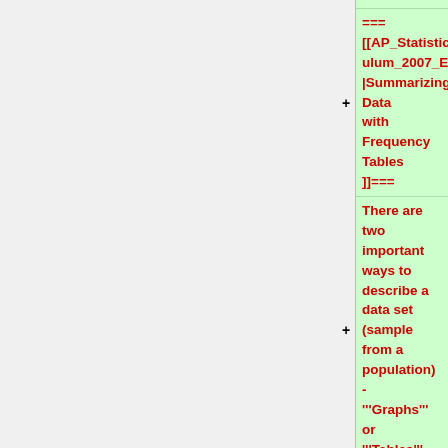=== [[AP_Statistics_Curriculum_2007_EDA_Freq|Summarizing Data with Frequency Tables]]===
There are two important ways to describe a data set (sample from a population) - '''Graphs''' or '''Tables'''.
=== [[AP_Statistics_Curriculum_2007_EDA_Pics|Pictures of Data]]===
There are many different ways to display and graphically visualize